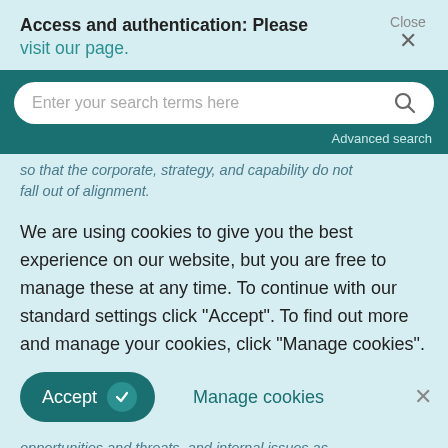Access and authentication: Please visit our page.
[Figure (screenshot): Search bar with placeholder text 'Enter your search terms here' and a magnifying glass icon, on a dark teal background with 'Advanced search' link below]
so that the corporate, strategy, and capability do not fall out of alignment.
We are using cookies to give you the best experience on our website, but you are free to manage these at any time. To continue with our standard settings click "Accept". To find out more and manage your cookies, click "Manage cookies".
Accept   Manage cookies   ×
opportunities and threats, and internal issues as strengths and weaknesses. Issues are viewed in the